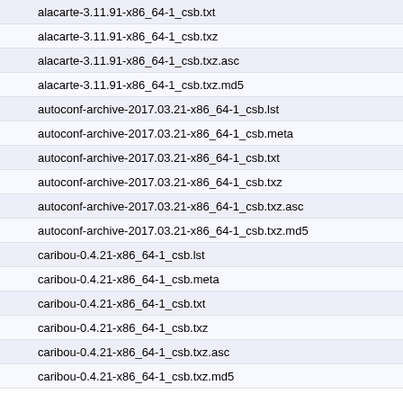alacarte-3.11.91-x86_64-1_csb.txt
alacarte-3.11.91-x86_64-1_csb.txz
alacarte-3.11.91-x86_64-1_csb.txz.asc
alacarte-3.11.91-x86_64-1_csb.txz.md5
autoconf-archive-2017.03.21-x86_64-1_csb.lst
autoconf-archive-2017.03.21-x86_64-1_csb.meta
autoconf-archive-2017.03.21-x86_64-1_csb.txt
autoconf-archive-2017.03.21-x86_64-1_csb.txz
autoconf-archive-2017.03.21-x86_64-1_csb.txz.asc
autoconf-archive-2017.03.21-x86_64-1_csb.txz.md5
caribou-0.4.21-x86_64-1_csb.lst
caribou-0.4.21-x86_64-1_csb.meta
caribou-0.4.21-x86_64-1_csb.txt
caribou-0.4.21-x86_64-1_csb.txz
caribou-0.4.21-x86_64-1_csb.txz.asc
caribou-0.4.21-x86_64-1_csb.txz.md5